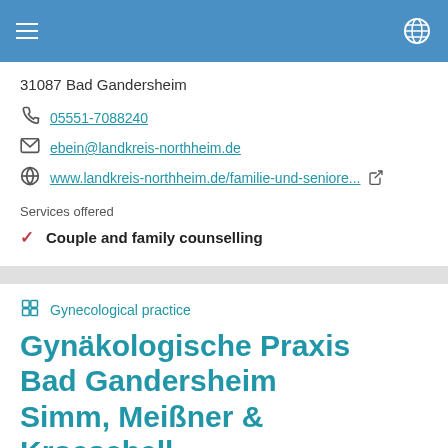31087 Bad Gandersheim
05551-7088240
ebein@landkreis-northheim.de
www.landkreis-northheim.de/familie-und-seniore...
Services offered
Couple and family counselling
Gynecological practice
Gynäkologische Praxis Bad Gandersheim Simm, Meißner & Kroeschell
5,843 km distance